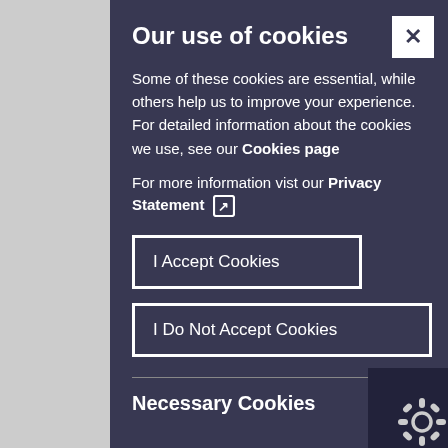Our use of cookies
Some of these cookies are essential, while others help us to improve your experience. For detailed information about the cookies we use, see our Cookies page
For more information vist our Privacy Statement ↗
I Accept Cookies
I Do Not Accept Cookies
Necessary Cookies